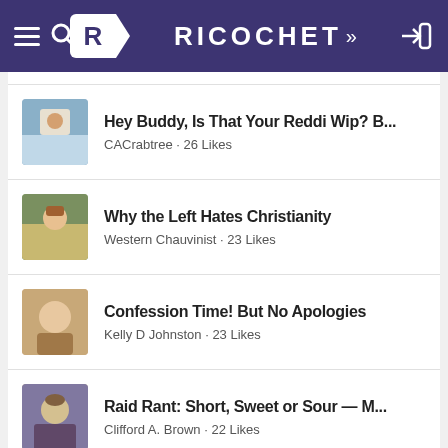RICOCHET
Hey Buddy, Is That Your Reddi Wip? B... CACrabtree · 26 Likes
Why the Left Hates Christianity Western Chauvinist · 23 Likes
Confession Time! But No Apologies Kelly D Johnston · 23 Likes
Raid Rant: Short, Sweet or Sour — M... Clifford A. Brown · 22 Likes
Is the FBI Setting Up the 'One Bad Ap... No Caesar · 21 Likes